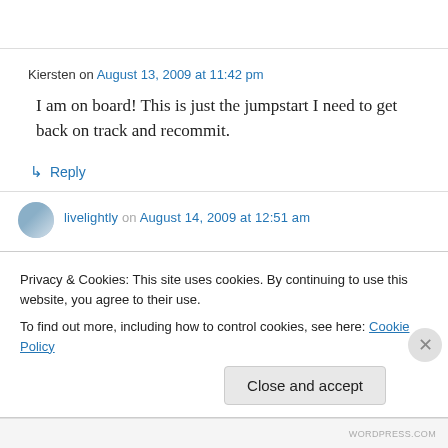Kiersten on August 13, 2009 at 11:42 pm
I am on board! This is just the jumpstart I need to get back on track and recommit.
↳ Reply
livelightly on August 14, 2009 at 12:51 am
Privacy & Cookies: This site uses cookies. By continuing to use this website, you agree to their use.
To find out more, including how to control cookies, see here: Cookie Policy
Close and accept